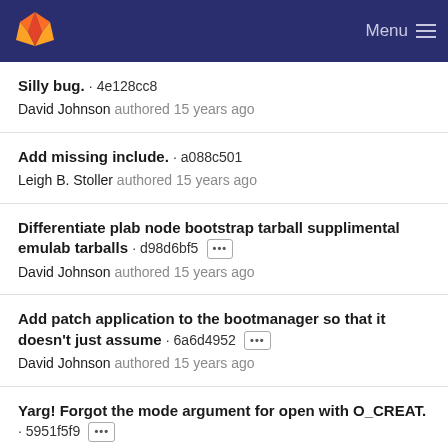Menu
Silly bug. · 4e128cc8
David Johnson authored 15 years ago
Add missing include. · a088c501
Leigh B. Stoller authored 15 years ago
Differentiate plab node bootstrap tarball supplimental emulab tarballs · d98d6bf5 [...]
David Johnson authored 15 years ago
Add patch application to the bootmanager so that it doesn't just assume · 6a6d4952 [...]
David Johnson authored 15 years ago
Yarg! Forgot the mode argument for open with O_CREAT. · 5951f5f9 [...]
Mike Hibler authored 15 years ago
We have switched to using a RSA V2 key in our images. ·